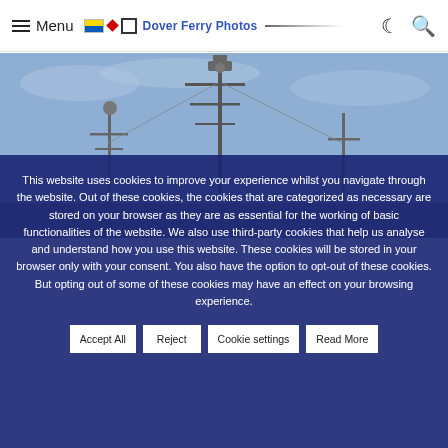Menu | [Ukraine flag] [Red diamond] [White square] Dover Ferry Photos [logo line] [moon icon] [search icon]
[Figure (photo): A ship's communication mast and antennae against a blue-grey cloudy sky, showing radar and navigation equipment on tall poles.]
This website uses cookies to improve your experience whilst you navigate through the website. Out of these cookies, the cookies that are categorized as necessary are stored on your browser as they are as essential for the working of basic functionalities of the website. We also use third-party cookies that help us analyse and understand how you use this website. These cookies will be stored in your browser only with your consent. You also have the option to opt-out of these cookies. But opting out of some of these cookies may have an effect on your browsing experience.
Accept All
Reject
Cookie settings
Read More